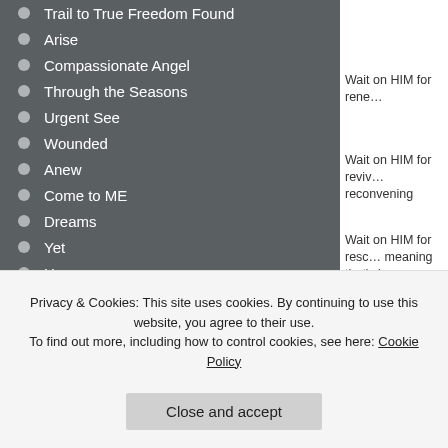Trail to True Freedom Found
Arise
Compassionate Angel
Through the Seasons
Urgent See
Wounded
Anew
Come to ME
Dreams
Yet
How
Never Die
Relapse
Kept
HIS WORD
Wait on HIM for rene...
Wait on HIM for reviv... reconvening
Wait on HIM for resc... meaning that's increa...
Wait on HIM for refilli... Word unleashing
Wait on HIM watching...
Privacy & Cookies: This site uses cookies. By continuing to use this website, you agree to their use. To find out more, including how to control cookies, see here: Cookie Policy
Close and accept